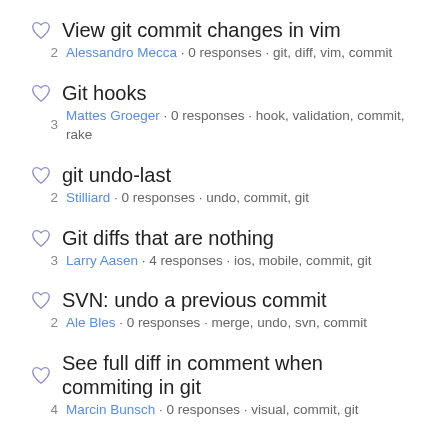View git commit changes in vim
Alessandro Mecca · 0 responses · git, diff, vim, commit
2 votes
Git hooks
Mattes Groeger · 0 responses · hook, validation, commit, rake
3 votes
git undo-last
Stilliard · 0 responses · undo, commit, git
2 votes
Git diffs that are nothing
Larry Aasen · 4 responses · ios, mobile, commit, git
3 votes
SVN: undo a previous commit
Ale Bles · 0 responses · merge, undo, svn, commit
2 votes
See full diff in comment when commiting in git
Marcin Bunsch · 0 responses · visual, commit, git
4 votes